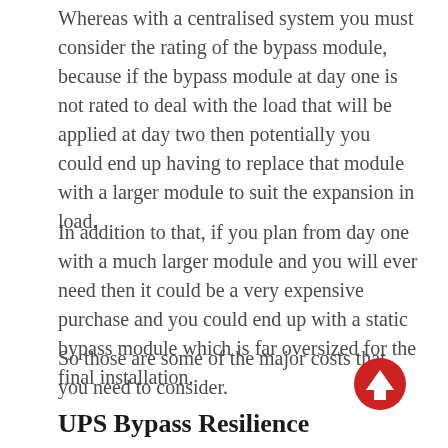Whereas with a centralised system you must consider the rating of the bypass module, because if the bypass module at day one is not rated to deal with the load that will be applied at day two then potentially you could end up having to replace that module with a larger module to suit the expansion in load.
In addition to that, if you plan from day one with a much larger module and you will ever need then it could be a very expensive purchase and you could end up with a static bypass module which is far oversized for the final installation.
So those are some of the major costs that you need to consider.
UPS Bypass Resilience